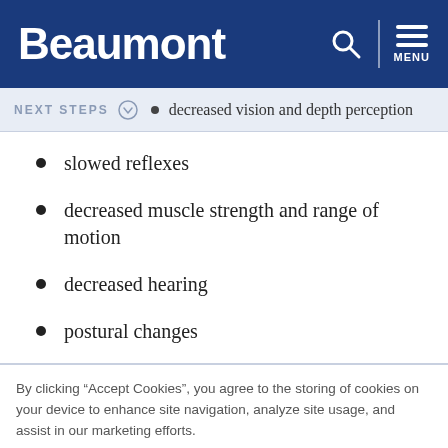Beaumont
decreased vision and depth perception
slowed reflexes
decreased muscle strength and range of motion
decreased hearing
postural changes
By clicking “Accept Cookies”, you agree to the storing of cookies on your device to enhance site navigation, analyze site usage, and assist in our marketing efforts.